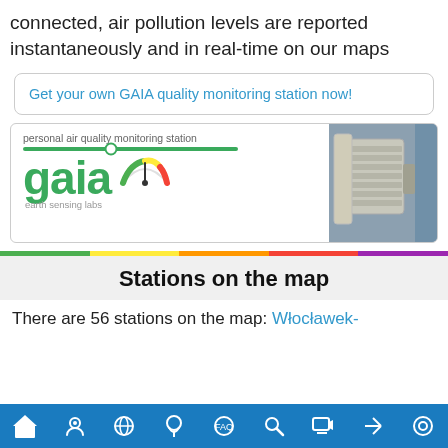connected, air pollution levels are reported instantaneously and in real-time on our maps
Get your own GAIA quality monitoring station now!
[Figure (logo): GAIA personal air quality monitoring station banner with green logo text 'gaia', tagline 'personal air quality monitoring station', 'earth sensing labs', a green horizontal bar with circle, a colorful gauge icon, and a photo of a physical monitoring device mounted on a wall]
Stations on the map
There are 56 stations on the map: Włocławek-